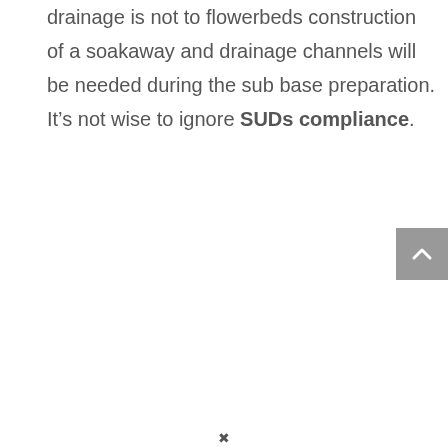drainage is not to flowerbeds construction of a soakaway and drainage channels will be needed during the sub base preparation. It's not wise to ignore SUDs compliance.